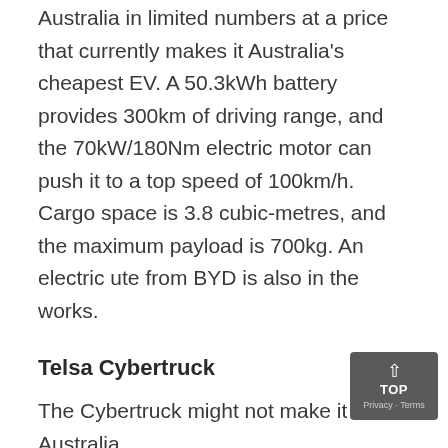Australia in limited numbers at a price that currently makes it Australia's cheapest EV. A 50.3kWh battery provides 300km of driving range, and the 70kW/180Nm electric motor can push it to a top speed of 100km/h. Cargo space is 3.8 cubic-metres, and the maximum payload is 700kg. An electric ute from BYD is also in the works.
Telsa Cybertruck
The Cybertruck might not make it to Australia.
The...